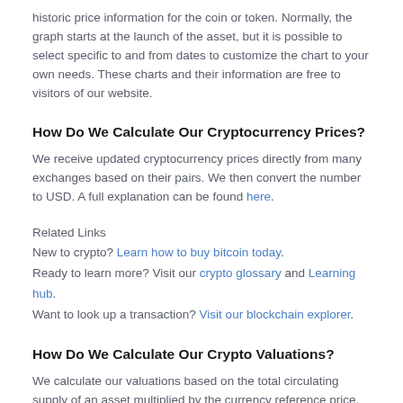historic price information for the coin or token. Normally, the graph starts at the launch of the asset, but it is possible to select specific to and from dates to customize the chart to your own needs. These charts and their information are free to visitors of our website.
How Do We Calculate Our Cryptocurrency Prices?
We receive updated cryptocurrency prices directly from many exchanges based on their pairs. We then convert the number to USD. A full explanation can be found here.
Related Links
New to crypto? Learn how to buy bitcoin today.
Ready to learn more? Visit our crypto glossary and Learning hub.
Want to look up a transaction? Visit our blockchain explorer.
How Do We Calculate Our Crypto Valuations?
We calculate our valuations based on the total circulating supply of an asset multiplied by the currency reference price. The topic is explained in more detail here.
How Do We Calculate the Cryptocurrency Market Cap?